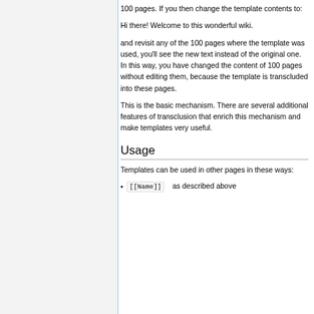100 pages. If you then change the template contents to:
Hi there! Welcome to this wonderful wiki.
and revisit any of the 100 pages where the template was used, you'll see the new text instead of the original one. In this way, you have changed the content of 100 pages without editing them, because the template is transcluded into these pages.
This is the basic mechanism. There are several additional features of transclusion that enrich this mechanism and make templates very useful.
Usage
Templates can be used in other pages in these ways:
[[Name]]   as described above